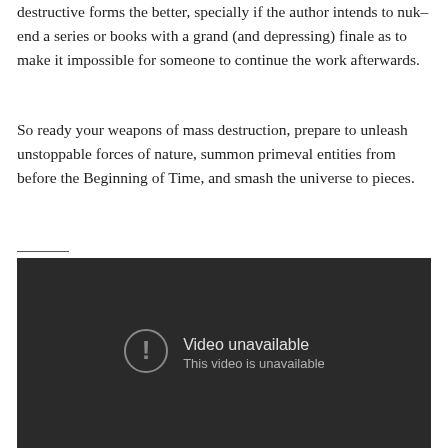destructive forms the better, specially if the author intends to nuk– end a series or books with a grand (and depressing) finale as to make it impossible for someone to continue the work afterwards.
So ready your weapons of mass destruction, prepare to unleash unstoppable forces of nature, summon primeval entities from before the Beginning of Time, and smash the universe to pieces.
[Figure (screenshot): A dark video player showing 'Video unavailable' message with an exclamation mark icon and subtitle 'This video is unavailable']